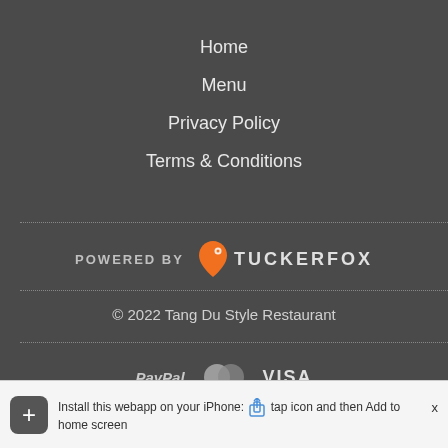Home
Menu
Privacy Policy
Terms & Conditions
[Figure (logo): POWERED BY TUCKERFOX logo with orange map pin icon]
© 2022 Tang Du Style Restaurant
[Figure (logo): Payment method logos: PayPal, Mastercard, VISA]
Install this webapp on your iPhone: tap icon and then Add to home screen